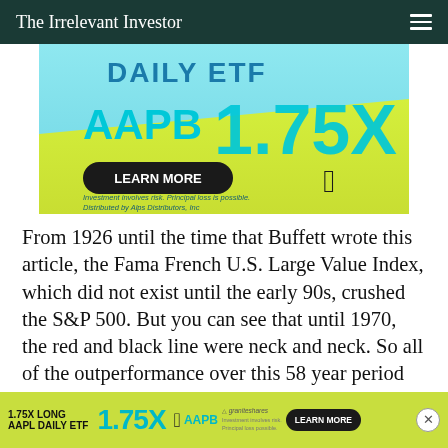The Irrelevant Investor
[Figure (screenshot): Advertisement banner for AAPB 1.75X Daily ETF by GraniteShares. Teal and yellow-green gradient background with text: 'DAILY ETF', 'AAPB 1.75X', 'LEARN MORE' button, Apple logo, and disclaimer: 'Investment involves risk. Principal loss is possible. Distributed by Alps Distributors, Inc']
From 1926 until the time that Buffett wrote this article, the Fama French U.S. Large Value Index, which did not exist until the early 90s, crushed the S&P 500. But you can see that until 1970, the red and black line were neck and neck. So all of the outperformance over this 58 year period came in the 14 years leading up to Buffett's coin flippin
[Figure (screenshot): Bottom advertisement bar for 1.75X Long AAPL Daily ETF (AAPB) with yellow-green background, teal text '1.75X', AAPB label, Apple logo, GraniteShares branding, LEARN MORE button, and X close button]